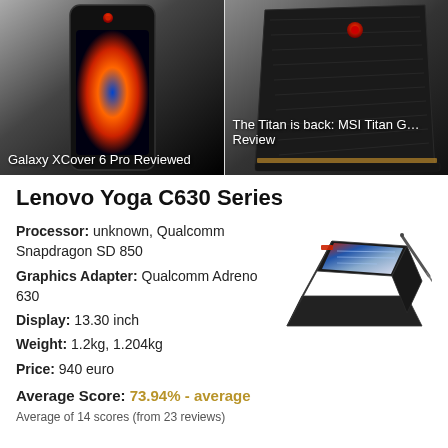[Figure (photo): Galaxy XCover 6 Pro phone shown against dark background with colorful screen display]
Galaxy XCover 6 Pro Reviewed
[Figure (photo): MSI Titan GT laptop shown from back/side angle against dark background]
The Titan is back: MSI Titan G… Review
Lenovo Yoga C630 Series
Processor: unknown, Qualcomm Snapdragon SD 850
Graphics Adapter: Qualcomm Adreno 630
Display: 13.30 inch
Weight: 1.2kg, 1.204kg
Price: 940 euro
Average Score: 73.94% - average
[Figure (photo): Lenovo Yoga C630 laptop in tent mode with stylus pen, shown from side angle]
Average of 14 scores (from 23 reviews)